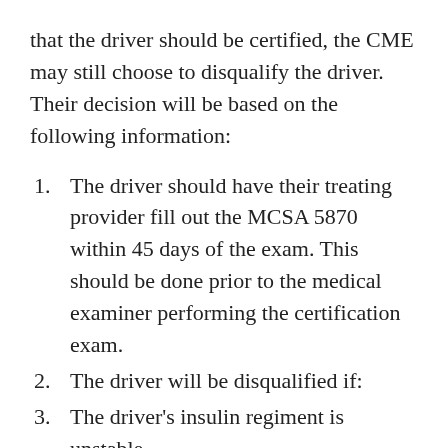that the driver should be certified, the CME may still choose to disqualify the driver.  Their decision will be based on the following information:
The driver should have their treating provider fill out the MCSA 5870 within 45 days of the exam. This should be done prior to the medical examiner performing the certification exam.
The driver will be disqualified if:
The driver's insulin regiment is unstable.
The driver's diabetes in not properly